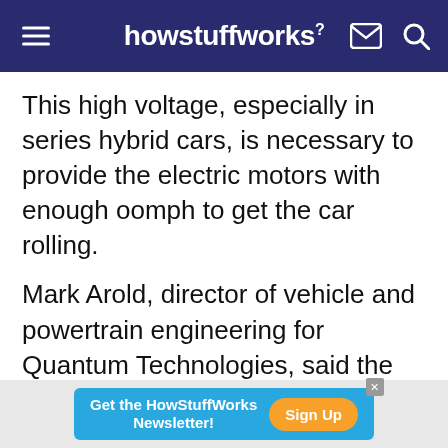howstuffworks
This high voltage, especially in series hybrid cars, is necessary to provide the electric motors with enough oomph to get the car rolling.
Mark Arold, director of vehicle and powertrain engineering for Quantum Technologies, said the batteries can be recharged through traditional 110-volt AC home electrical systems, or a 240-volt AC system -- also found in homes and used to power large appliances like electric stoves and clothes dryers. According to Arold, it will take approximately
[Figure (other): Advertisement banner: Get the HowStuffWorks Newsletter! Sign Up button]